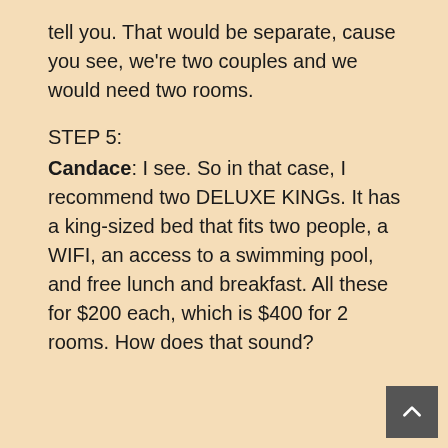tell you. That would be separate, cause you see, we're two couples and we would need two rooms.
STEP 5:
Candace: I see. So in that case, I recommend two DELUXE KINGs. It has a king-sized bed that fits two people, a WIFI, an access to a swimming pool, and free lunch and breakfast. All these for $200 each, which is $400 for 2 rooms. How does that sound?